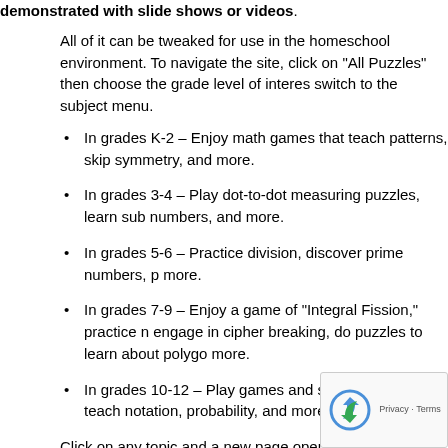demonstrated with slide shows or videos.
All of it can be tweaked for use in the homeschool environment. To navigate the site, click on "All Puzzles" then choose the grade level of interest, or switch to the subject menu.
In grades K-2 – Enjoy math games that teach patterns, skip symmetry, and more.
In grades 3-4 – Play dot-to-dot measuring puzzles, learn sub numbers, and more.
In grades 5-6 – Practice division, discover prime numbers, p more.
In grades 7-9 – Enjoy a game of "Integral Fission," practice n engage in cipher breaking, do puzzles to learn about polygo more.
In grades 10-12 – Play games and solve puzzles that teach notation, probability, and more.
Click on any topic and a new page opens where you watch a demonstration video.
What an incredible range of free math activities! Book mark this s